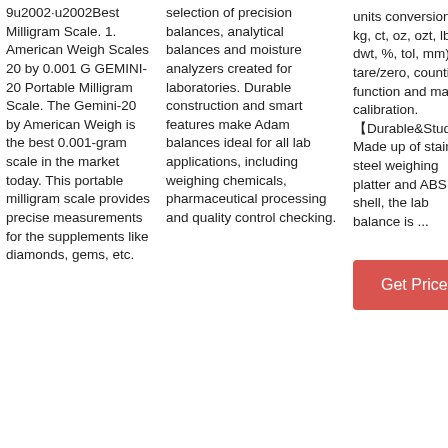9u2002·u2002Best Milligram Scale. 1. American Weigh Scales 20 by 0.001 G GEMINI-20 Portable Milligram Scale. The Gemini-20 by American Weigh is the best 0.001-gram scale in the market today. This portable milligram scale provides precise measurements for the supplements like diamonds, gems, etc.
selection of precision balances, analytical balances and moisture analyzers created for laboratories. Durable construction and smart features make Adam balances ideal for all lab applications, including weighing chemicals, pharmaceutical processing and quality control checking.
units conversion (g, kg, ct, oz, ozt, lb, dwt, %, tol, mm), tare/zero, counting function and manual calibration. 【Durable&Study】Made up of stainless steel weighing platter and ABS shell, the lab balance is ...
Get Price